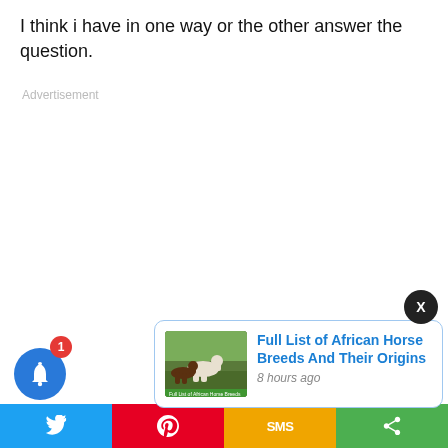I think i have in one way or the other answer the question.
Advertisement
[Figure (screenshot): A notification popup card showing horses image with title 'Full List of African Horse Breeds And Their Origins' and timestamp '8 hours ago', with a close (X) button, a bell notification button with badge '1', and a social sharing bar at the bottom with Twitter, Pinterest, SMS, and share icons.]